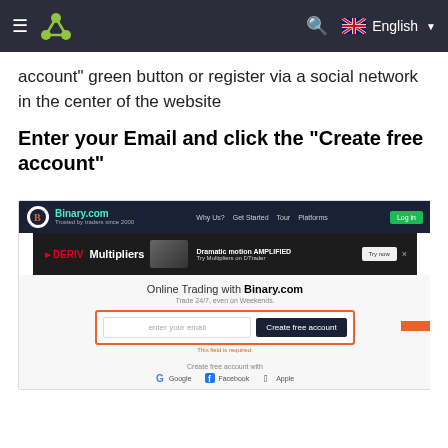Navigation bar with logo, search, and English language selector
account" green button or register via a social network in the center of the website
Enter your Email and click the "Create free account"
[Figure (screenshot): Screenshot of Binary.com website showing the homepage with navigation bar, a Deriv Multipliers promotional banner, and an email registration form with 'Create free account' button highlighted with a red arrow pointing to it. Below shows social login options for Google, Facebook, and Apple.]